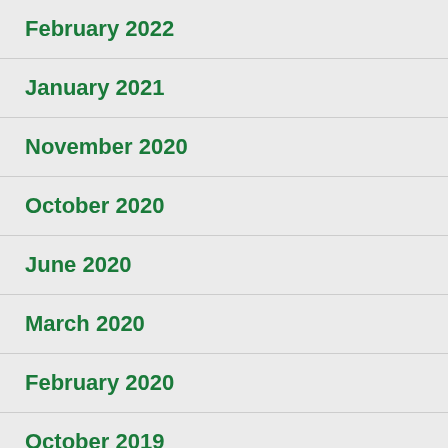February 2022
January 2021
November 2020
October 2020
June 2020
March 2020
February 2020
October 2019
February 2019
January 2019